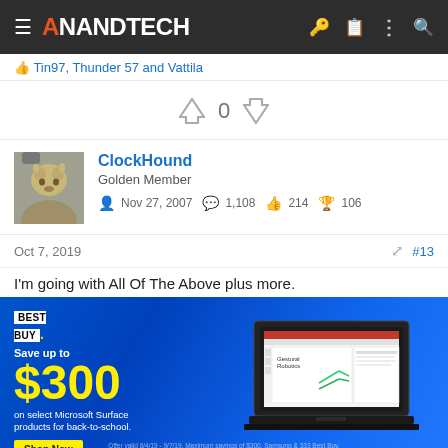AnandTech
Tin97, Thunder 57 and Vattila
0
ClockHound
Golden Member
Nov 27, 2007   1,108   214   106
Oct 7, 2019   #13
I'm going with All Of The Above plus more.
[Figure (photo): Best Buy advertisement: Save up to $300 on select Microsoft Surface products for back-to-school. Shop Now button. Laptop shown on right side.]